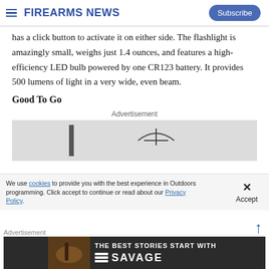Firearms News
has a click button to activate it on either side. The flashlight is amazingly small, weighs just 1.4 ounces, and features a high-efficiency LED bulb powered by one CR123 battery. It provides 500 lumens of light in a very wide, even beam.
Good To Go
Advertisement
[Figure (photo): Advertisement image showing a dark silhouette/crosshair graphic on light grey background]
We use cookies to provide you with the best experience in Outdoors programming. Click accept to continue or read about our Privacy Policy.
Advertisement
[Figure (photo): Savage Arms advertisement: THE BEST STORIES START WITH SAVAGE, dark background with firearm imagery]